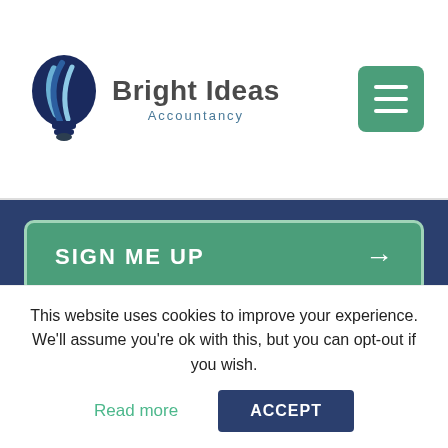[Figure (logo): Bright Ideas Accountancy logo with stylized light bulb in blue/navy and company name]
[Figure (other): Green hamburger menu button with three horizontal white lines]
SIGN ME UP →
I agree with Bright Ideas' Privacy Policy
This site is protected by reCAPTCHA and the Google Privacy Policy and Terms of Service apply.
This website uses cookies to improve your experience. We'll assume you're ok with this, but you can opt-out if you wish.
Read more
ACCEPT